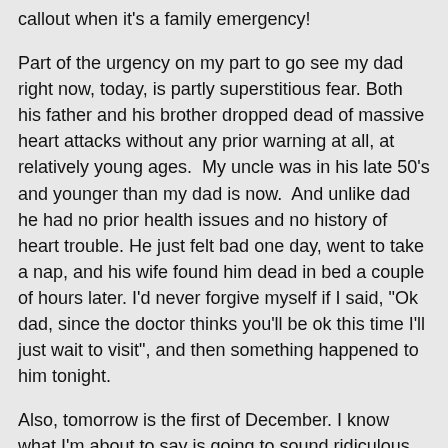callout when it's a family emergency!
Part of the urgency on my part to go see my dad right now, today, is partly superstitious fear. Both his father and his brother dropped dead of massive heart attacks without any prior warning at all, at relatively young ages.  My uncle was in his late 50's and younger than my dad is now.  And unlike dad he had no prior health issues and no history of heart trouble. He just felt bad one day, went to take a nap, and his wife found him dead in bed a couple of hours later. I'd never forgive myself if I said, "Ok dad, since the doctor thinks you'll be ok this time I'll just wait to visit", and then something happened to him tonight.
Also, tomorrow is the first of December. I know what I'm about to say is going to sound ridiculous and superstitious, but for me that's the month that's always meant death and disaster. I've blogged before about all the bad things that have happened in my life in the month of December. There have been the sudden deaths of relatives, pet deaths, cancer diagnoses, and job losses...always in December. I dread it every year, and superstitious or not, I'm not taking a